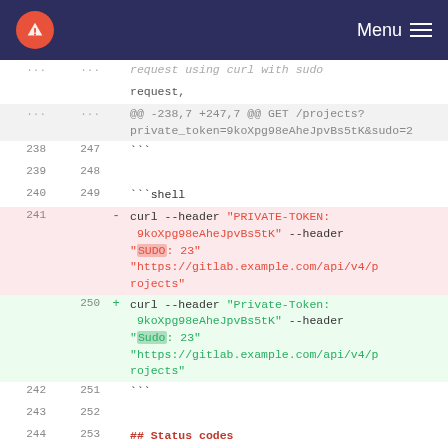Menu
[Figure (screenshot): Git diff viewer showing a code change from PRIVATE-TOKEN/SUDO headers to Private-Token/Sudo headers in a curl command, with removed lines highlighted in red and added lines in green. Line numbers shown on left (old: 238-244, new: 247-253).]